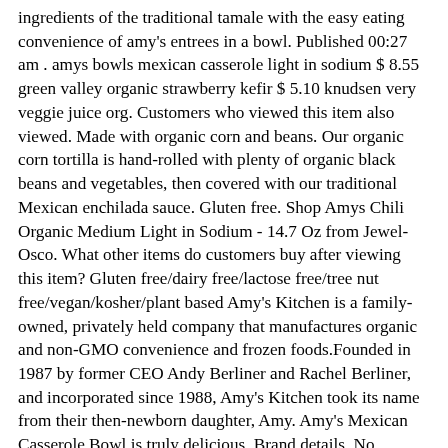ingredients of the traditional tamale with the easy eating convenience of amy's entrees in a bowl. Published 00:27 am . amys bowls mexican casserole light in sodium $ 8.55 green valley organic strawberry kefir $ 5.10 knudsen very veggie juice org. Customers who viewed this item also viewed. Made with organic corn and beans. Our organic corn tortilla is hand-rolled with plenty of organic black beans and vegetables, then covered with our traditional Mexican enchilada sauce. Gluten free. Shop Amys Chili Organic Medium Light in Sodium - 14.7 Oz from Jewel-Osco. What other items do customers buy after viewing this item? Gluten free/dairy free/lactose free/tree nut free/vegan/kosher/plant based Amy's Kitchen is a family-owned, privately held company that manufactures organic and non-GMO convenience and frozen foods.Founded in 1987 by former CEO Andy Berliner and Rachel Berliner, and incorporated since 1988, Amy's Kitchen took its name from their then-newborn daughter, Amy. Amy's Mexican Casserole Bowl is truly delicious. Brand details. No preservatives. Amy's Mexican casserole bowl is truly delicious. This is comfort food, Mexican style. Made with organic corn and tomatoes. Browse our wide selection of Frozen Meals Multi-Serve for Delivery or Drive Up & Go to pick up at the store! From our home to you. "Finally, an organic ready to go meal, full of good, real ingredients, available in the supermarket! Amy's Kitchen. So you are not disappointed after buying it and in accordance with the product you need. Amy's Organic Chili Light in Sodium bring you